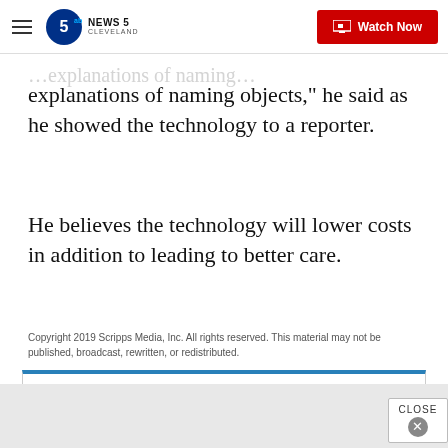NEWS 5 CLEVELAND — Watch Now
explanations of naming objects," he said as he showed the technology to a reporter.
He believes the technology will lower costs in addition to leading to better care.
Copyright 2019 Scripps Media, Inc. All rights reserved. This material may not be published, broadcast, rewritten, or redistributed.
Sign up for What Happened Now? - a daily email newsletter spotlighting the top news in the Cleveland area each day.